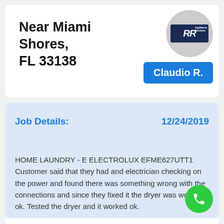Near Miami Shores, FL 33138
[Figure (logo): RR Appliance Services logo in a circular badge]
Claudio R.
Job Details:    12/24/2019
HOME LAUNDRY - E ELECTROLUX EFME627UTT1 Customer said that they had and electrician checking on the power and found there was something wrong with the connections and since they fixed it the dryer was working ok. Tested the dryer and it worked ok.